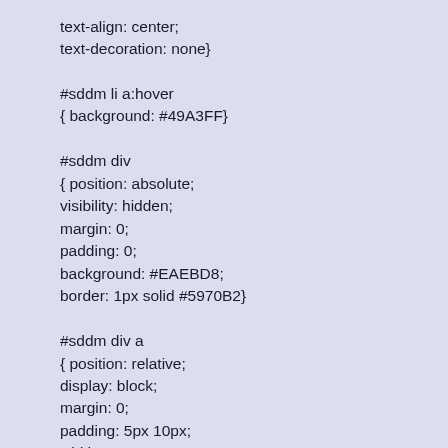text-align: center;
text-decoration: none}

#sddm li a:hover
{ background: #49A3FF}

#sddm div
{ position: absolute;
visibility: hidden;
margin: 0;
padding: 0;
background: #EAEBD8;
border: 1px solid #5970B2}

#sddm div a
{ position: relative;
display: block;
margin: 0;
padding: 5px 10px;
width: auto;
white-space: nowrap;
text-align: left;
text-decoration: none;
background: #EAEBD8;
color: #2875DE;